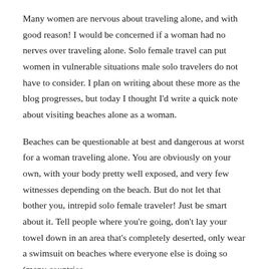Many women are nervous about traveling alone, and with good reason! I would be concerned if a woman had no nerves over traveling alone. Solo female travel can put women in vulnerable situations male solo travelers do not have to consider. I plan on writing about these more as the blog progresses, but today I thought I'd write a quick note about visiting beaches alone as a woman.
Beaches can be questionable at best and dangerous at worst for a woman traveling alone. You are obviously on your own, with your body pretty well exposed, and very few witnesses depending on the beach. But do not let that bother you, intrepid solo female traveler! Just be smart about it. Tell people where you're going, don't lay your towel down in an area that's completely deserted, only wear a swimsuit on beaches where everyone else is doing so (many countries